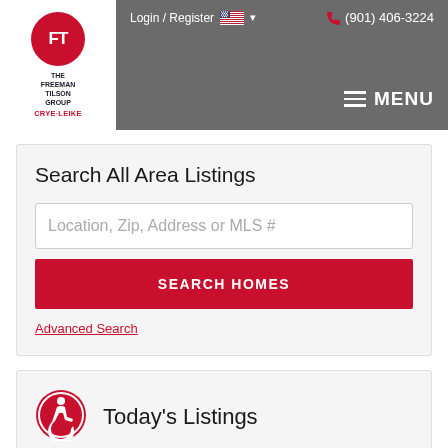Login / Register  (901) 406-3224
[Figure (logo): The Freeman Tilson Group Crye-Leike logo with red circle containing FT initials]
Search All Area Listings
Location, Zip, Address or MLS #
SEARCH HOMES
Advanced Search
Today's Listings